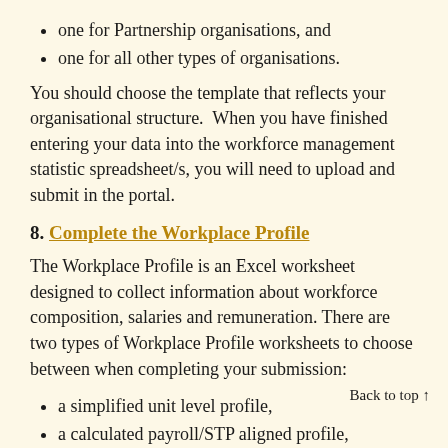one for Partnership organisations, and
one for all other types of organisations.
You should choose the template that reflects your organisational structure.  When you have finished entering your data into the workforce management statistic spreadsheet/s, you will need to upload and submit in the portal.
8. Complete the Workplace Profile
The Workplace Profile is an Excel worksheet designed to collect information about workforce composition, salaries and remuneration. There are two types of Workplace Profile worksheets to choose between when completing your submission:
a simplified unit level profile,
a calculated payroll/STP aligned profile,
Back to top ↑